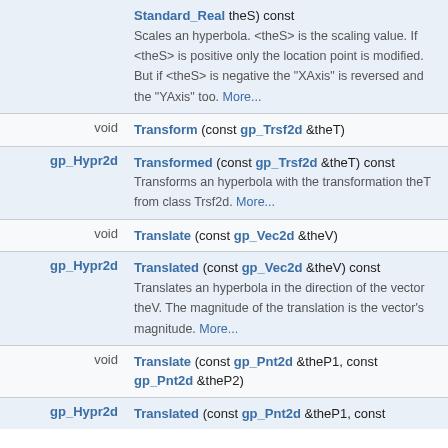| type | member |
| --- | --- |
|  | Standard_Real theS) const
Scales an hyperbola. <theS> is the scaling value. If <theS> is positive only the location point is modified. But if <theS> is negative the "XAxis" is reversed and the "YAxis" too. More... |
| void | Transform (const gp_Trsf2d &theT) |
| gp_Hypr2d | Transformed (const gp_Trsf2d &theT) const
Transforms an hyperbola with the transformation theT from class Trsf2d. More... |
| void | Translate (const gp_Vec2d &theV) |
| gp_Hypr2d | Translated (const gp_Vec2d &theV) const
Translates an hyperbola in the direction of the vector theV. The magnitude of the translation is the vector's magnitude. More... |
| void | Translate (const gp_Pnt2d &theP1, const gp_Pnt2d &theP2) |
| gp_Hypr2d | Translated (const gp_Pnt2d &theP1, const |